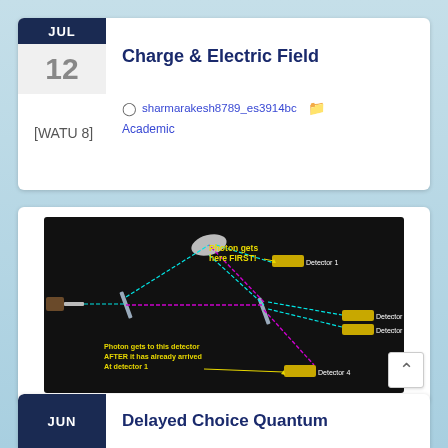Charge & Electric Field
sharmarakesh8789_es3914bc   Academic
[WATU 8]
[Figure (schematic): Quantum optics delayed-choice experiment diagram showing a photon beam splitter with paths leading to Detector 1 (upper), Detectors 2 and 3 (right), and Detector 4 (lower). Labels: 'Photon gets here FIRST!' pointing to Detector 1; 'Photon gets to this detector AFTER it has already arrived At detector 1' pointing to Detector 4.]
Delayed Choice Quantum